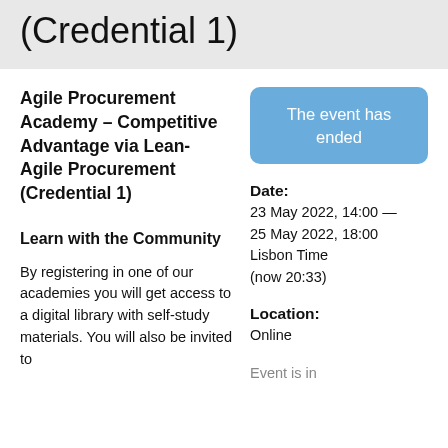(Credential 1)
Agile Procurement Academy – Competitive Advantage via Lean-Agile Procurement (Credential 1)
[Figure (other): Blue rounded button badge reading 'The event has ended']
Date:
23 May 2022, 14:00 — 25 May 2022, 18:00 Lisbon Time (now 20:33)
Learn with the Community
By registering in one of our academies you will get access to a digital library with self-study materials. You will also be invited to
Location:
Online
Event is in